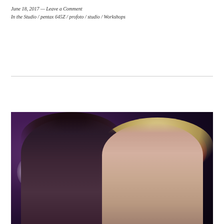June 18, 2017 — Leave a Comment
In the Studio / pentax 645Z / profoto / studio / Workshops
[Figure (photo): Two women posing together against a dark purple/bokeh background. The woman on the left has dark hair in an updo, and the woman on the right has blonde hair. There are bokeh light elements visible — a white circular light on the left and a red circular light on the upper right.]